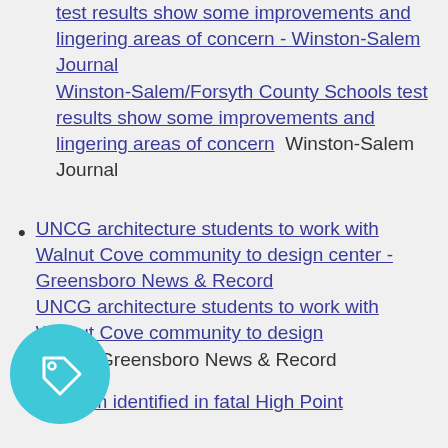Winston-Salem/Forsyth County Schools test results show some improvements and lingering areas of concern - Winston-Salem Journal  Winston-Salem/Forsyth County Schools test results show some improvements and lingering areas of concern  Winston-Salem Journal
UNCG architecture students to work with Walnut Cove community to design center - Greensboro News & Record  UNCG architecture students to work with Walnut Cove community to design center  Greensboro News & Record
Victim identified in fatal High Point ...
[Figure (illustration): Teal circular tag/label icon in the bottom left corner]